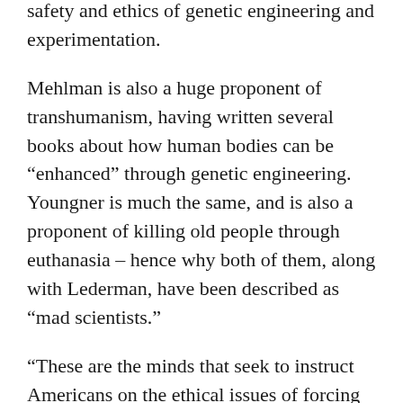safety and ethics of genetic engineering and experimentation.
Mehlman is also a huge proponent of transhumanism, having written several books about how human bodies can be “enhanced” through genetic engineering. Youngner is much the same, and is also a proponent of killing old people through euthanasia – hence why both of them, along with Lederman, have been described as “mad scientists.”
“These are the minds that seek to instruct Americans on the ethical issues of forcing people to be injected with a vaccine that is still being developed and may have God only knows what side effects”